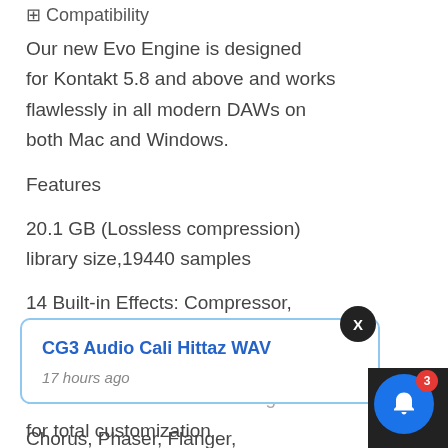Compatibility
Our new Evo Engine is designed for Kontakt 5.8 and above and works flawlessly in all modern DAWs on both Mac and Windows.
Features
20.1 GB (Lossless compression) library size,19440 samples
14 Built-in Effects: Compressor, Delays, Reverb, Limiter, Cabinet, Gainer, Rotator, Stereo Panner,
Chorus, Phaser, Flanger,
[Figure (screenshot): Notification popup card with title 'CG3 Audio Cali Hittaz WAV' and timestamp '17 hours ago', with an X close button and a blue bell notification icon with red badge showing 3]
full set of effects in the settings for total customization